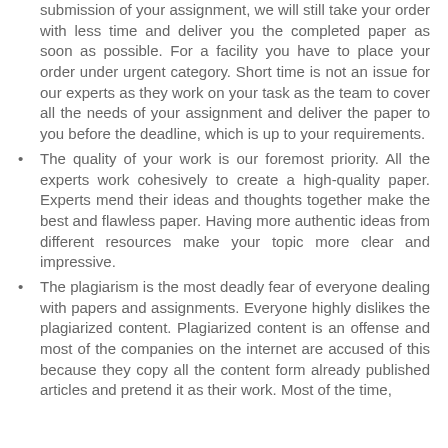submission of your assignment, we will still take your order with less time and deliver you the completed paper as soon as possible. For a facility you have to place your order under urgent category. Short time is not an issue for our experts as they work on your task as the team to cover all the needs of your assignment and deliver the paper to you before the deadline, which is up to your requirements.
The quality of your work is our foremost priority. All the experts work cohesively to create a high-quality paper. Experts mend their ideas and thoughts together make the best and flawless paper. Having more authentic ideas from different resources make your topic more clear and impressive.
The plagiarism is the most deadly fear of everyone dealing with papers and assignments. Everyone highly dislikes the plagiarized content. Plagiarized content is an offense and most of the companies on the internet are accused of this because they copy all the content form already published articles and pretend it as their work. Most of the time,